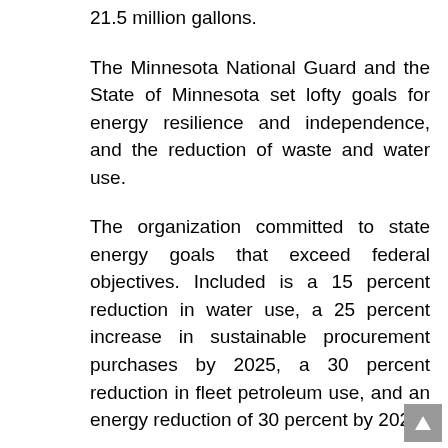21.5 million gallons.
The Minnesota National Guard and the State of Minnesota set lofty goals for energy resilience and independence, and the reduction of waste and water use.
The organization committed to state energy goals that exceed federal objectives. Included is a 15 percent reduction in water use, a 25 percent increase in sustainable procurement purchases by 2025, a 30 percent reduction in fleet petroleum use, and an energy reduction of 30 percent by 2027.
Meeting those goals solidifies the Minnesota National Guard's commitment to accomplishing its mission while being a responsible steward of resources.
Story by Bob Brown, Minnesota National Guard public